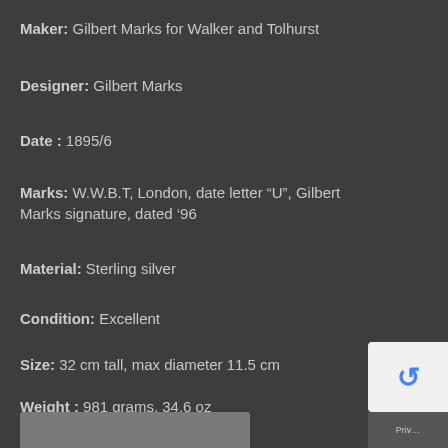Maker: Gilbert Marks for Walker and Tolhurst
Designer: Gilbert Marks
Date : 1895/6
Marks: W.W.B.T, London, date letter “U”, Gilbert Marks signature, dated ‘96
Material: Sterling silver
Condition: Excellent
Size: 32 cm tall, max diameter 11.5 cm
Weight : 981 grams, 34.6 oz
Submit Enquiry
SKU: A767